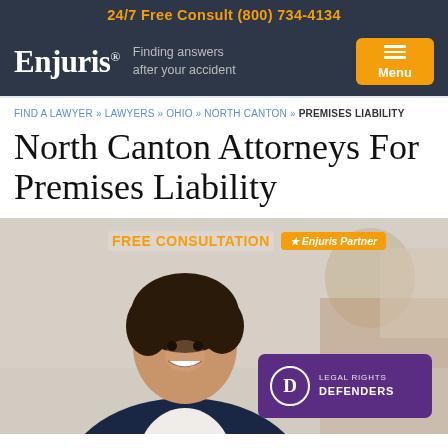24/7 Free Consult (800) 734-4134
[Figure (logo): Enjuris logo with tagline 'Finding answers after your accident' and orange Menu button]
FIND A LAWYER » LAWYERS » OHIO » NORTH CANTON » PREMISES LIABILITY
North Canton Attorneys For Premises Liability
[Figure (photo): Photo of smiling female attorney in dark blazer, with FREE CONSULTATION label and Enjuris Partner badge, and Legal Rights Defenders firm card overlaid]